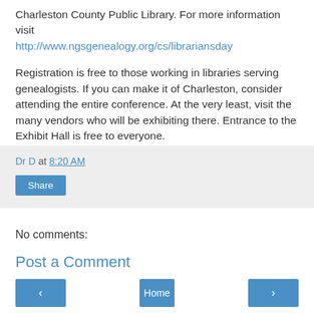Charleston County Public Library. For more information visit http://www.ngsgenealogy.org/cs/librariansday
Registration is free to those working in libraries serving genealogists. If you can make it of Charleston, consider attending the entire conference. At the very least, visit the many vendors who will be exhibiting there. Entrance to the Exhibit Hall is free to everyone.
Dr D at 8:20 AM
Share
No comments:
Post a Comment